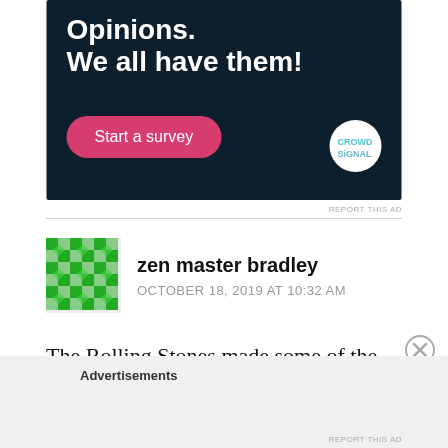[Figure (screenshot): Dark navy advertisement banner with bold white text 'Opinions. We all have them!', a pink 'Start a survey' button, and a Crowdsignal circular logo on the right.]
REPORT THIS AD
zen master bradley
OCTOBER 18, 2019 AT 10:32 AM
The Rolling Stones made some of the best country western music recorded!
Advertisements
REPORT THIS AD